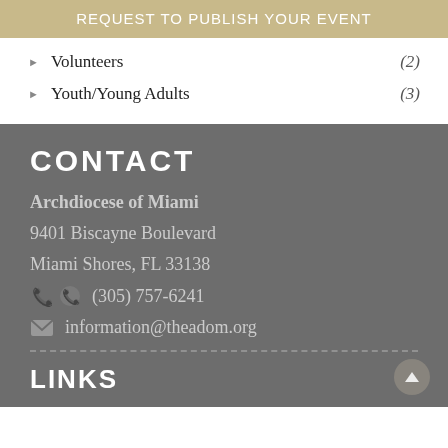REQUEST TO PUBLISH YOUR EVENT
Volunteers (2)
Youth/Young Adults (3)
CONTACT
Archdiocese of Miami
9401 Biscayne Boulevard
Miami Shores, FL 33138
(305) 757-6241
information@theadom.org
LINKS